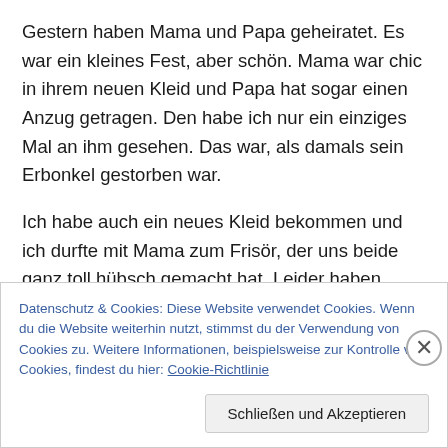Gestern haben Mama und Papa geheiratet. Es war ein kleines Fest, aber schön. Mama war chic in ihrem neuen Kleid und Papa hat sogar einen Anzug getragen. Den habe ich nur ein einziges Mal an ihm gesehen. Das war, als damals sein Erbonkel gestorben war.
Ich habe auch ein neues Kleid bekommen und ich durfte mit Mama zum Frisör, der uns beide ganz toll hübsch gemacht hat. Leider haben meine Locken nur bis kurz nach dem Abendessen gehalten. Bei Mama war eine halbe Dose Spray drin. Das machte die Haare zwar
Datenschutz & Cookies: Diese Website verwendet Cookies. Wenn du die Website weiterhin nutzt, stimmst du der Verwendung von Cookies zu. Weitere Informationen, beispielsweise zur Kontrolle von Cookies, findest du hier: Cookie-Richtlinie
Schließen und Akzeptieren